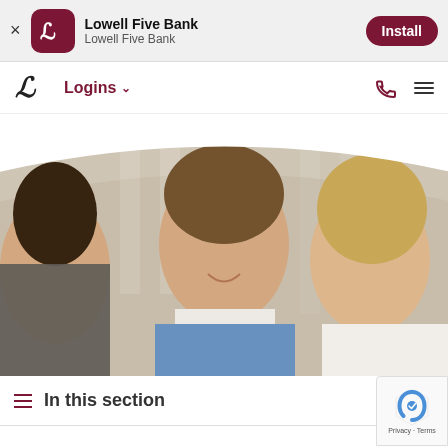Lowell Five Bank — App install banner with Install button
[Figure (screenshot): Lowell Five Bank website screenshot showing navigation bar with Logins dropdown, phone and hamburger menu icons, hero image of two people smiling at a meeting, and In this section bar at the bottom]
In this section